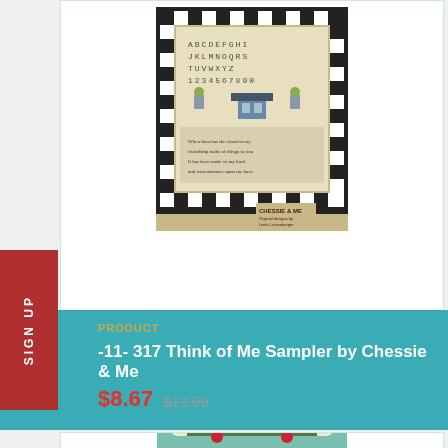[Figure (photo): Cross-stitch sampler by Chessie & Me in a black checkered frame, featuring alphabet letters, a house, and floral motifs on a beige/tan background]
PRODUCT
-11- 317 Think of Me Sampler by Chessie & Me
$8.67 $13.99
[Figure (photo): Cross-stitch pillow with F&H monogram, birds, a yellow colonial house, strawberries, and floral motifs on cream fabric, displayed on a teal dotted background with red berries]